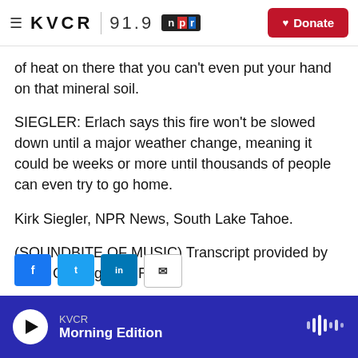KVCR 91.9 NPR | Donate
of heat on there that you can't even put your hand on that mineral soil.
SIEGLER: Erlach says this fire won't be slowed down until a major weather change, meaning it could be weeks or more until thousands of people can even try to go home.
Kirk Siegler, NPR News, South Lake Tahoe.
(SOUNDBITE OF MUSIC) Transcript provided by NPR, Copyright NPR.
KVCR Morning Edition